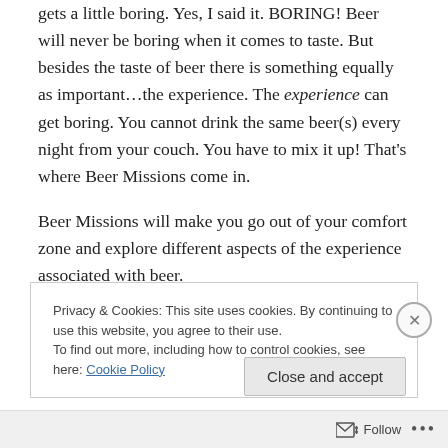gets a little boring. Yes, I said it. BORING! Beer will never be boring when it comes to taste. But besides the taste of beer there is something equally as important…the experience. The experience can get boring. You cannot drink the same beer(s) every night from your couch. You have to mix it up! That's where Beer Missions come in.
Beer Missions will make you go out of your comfort zone and explore different aspects of the experience associated with beer.
Privacy & Cookies: This site uses cookies. By continuing to use this website, you agree to their use.
To find out more, including how to control cookies, see here: Cookie Policy
Close and accept
Follow ···